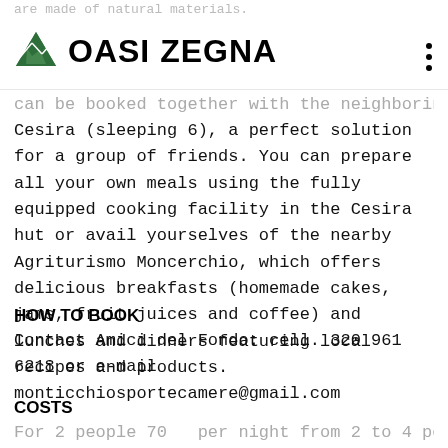OASI ZEGNA logo and navigation
can be booked together with the neighboring Barta Cesira (sleeping 6), a perfect solution for a group of friends. You can prepare all your own meals using the fully equipped cooking facility in the Cesira hut or avail yourselves of the nearby Agriturismo Moncerchio, which offers delicious breakfasts (homemade cakes, jams, fruit juices and coffee) and lunches and dinners featuring local recipes and products.
HOW TO BOOK
Contact Amici del Fondo: cell. 320 961 6218 or e-mail monticchiosportecamere@gmail.com
COSTS
For 2 people 70 per night from 2 to 4 people...